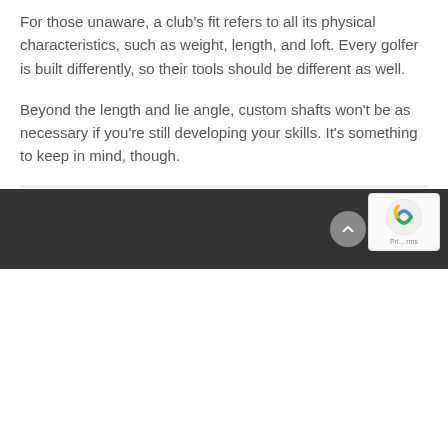For those unaware, a club's fit refers to all its physical characteristics, such as weight, length, and loft. Every golfer is built differently, so their tools should be different as well.
Beyond the length and lie angle, custom shafts won't be as necessary if you're still developing your skills. It's something to keep in mind, though.
TAGS• crossville, fairfield glade, golf course, golf package, tennessee
SHARE• [social icons: Twitter, Facebook, Google+, Tumblr, Email]